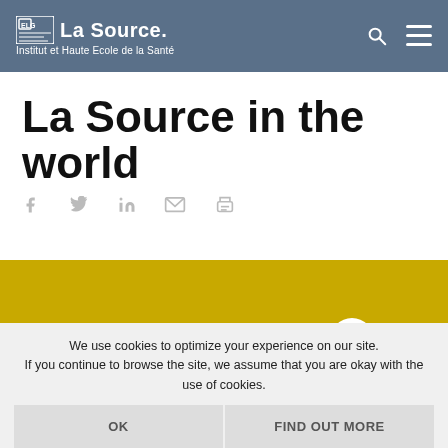La Source. Institut et Haute Ecole de la Santé
La Source in the world
[Figure (illustration): Social media sharing icons: Facebook, Twitter, LinkedIn, Email, Print — all in light grey]
[Figure (illustration): Yellow/gold background image with white dots arranged in a diagonal arc pattern from lower center to upper right]
We use cookies to optimize your experience on our site. If you continue to browse the site, we assume that you are okay with the use of cookies.
OK   FIND OUT MORE